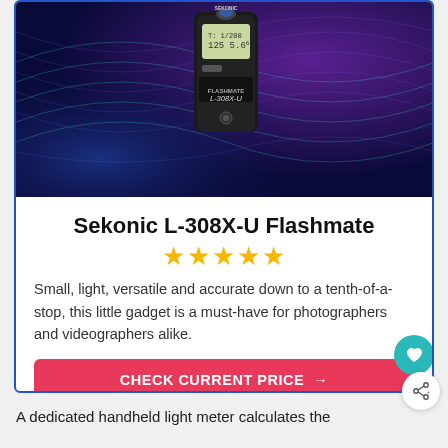[Figure (photo): Product photo of Sekonic L-308X-U Flashmate light meter against a dark purple/blue abstract wave background]
Sekonic L-308X-U Flashmate
★★★★★
Small, light, versatile and accurate down to a tenth-of-a-stop, this little gadget is a must-have for photographers and videographers alike.
CHECK CURRENT PRICE →
A dedicated handheld light meter calculates the